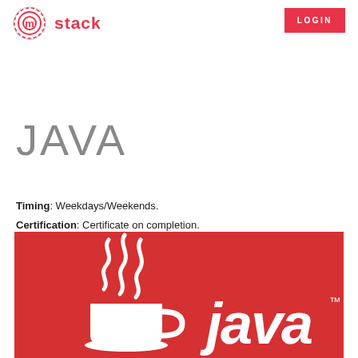m stack LOGIN
JAVA
Timing: Weekdays/Weekends.
Certification: Certificate on completion.
[Figure (logo): Java logo on red background — white steam/coffee cup icon and 'java' wordmark in white on red]